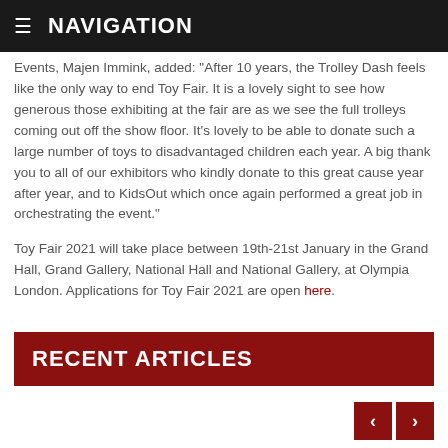NAVIGATION
Events, Majen Immink, added: "After 10 years, the Trolley Dash feels like the only way to end Toy Fair. It is a lovely sight to see how generous those exhibiting at the fair are as we see the full trolleys coming out off the show floor. It's lovely to be able to donate such a large number of toys to disadvantaged children each year. A big thank you to all of our exhibitors who kindly donate to this great cause year after year, and to KidsOut which once again performed a great job in orchestrating the event."
Toy Fair 2021 will take place between 19th-21st January in the Grand Hall, Grand Gallery, National Hall and National Gallery, at Olympia London. Applications for Toy Fair 2021 are open here.
RECENT ARTICLES